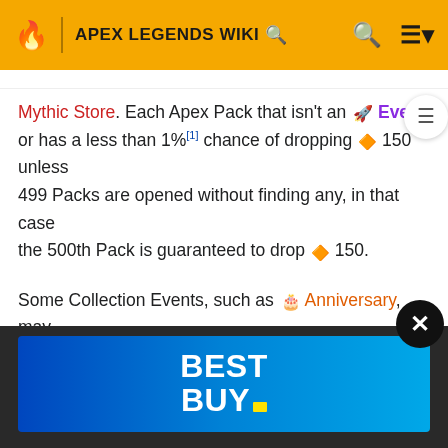APEX LEGENDS WIKI
Mythic Store. Each Apex Pack that isn't an [rocket icon] Event or has a less than 1%[1] chance of dropping [coin icon] 150 unless 499 Packs are opened without finding any, in that case the 500th Pack is guaranteed to drop [coin icon] 150.
Some Collection Events, such as [cake icon] Anniversary, may offer [coin icon] 150 upon acquiring all 24 Collection Event items.
[Figure (other): Best Buy advertisement banner with blue gradient background and white bold text reading BEST BUY with yellow dot logo mark]